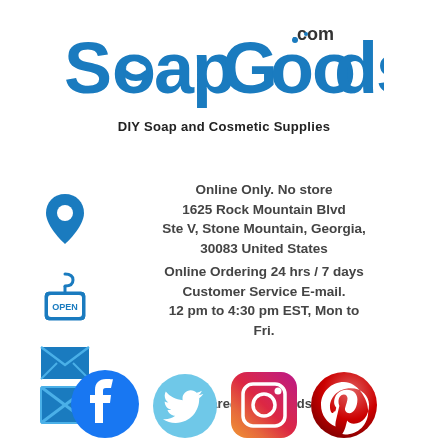[Figure (logo): SoapGoods.com logo with blue lettering and soap dish icon, tagline 'DIY Soap and Cosmetic Supplies']
[Figure (infographic): Contact info block with location pin icon, open sign icon, envelope icons, and address/hours/email text]
Online Only. No store
1625 Rock Mountain Blvd
Ste V, Stone Mountain, Georgia,
30083 United States
Online Ordering 24 hrs / 7 days
Customer Service E-mail.
12 pm to 4:30 pm EST, Mon to Fri.
wecare@soapgoods.com
[Figure (infographic): Social media icons row: Facebook, Twitter, Instagram, Pinterest]